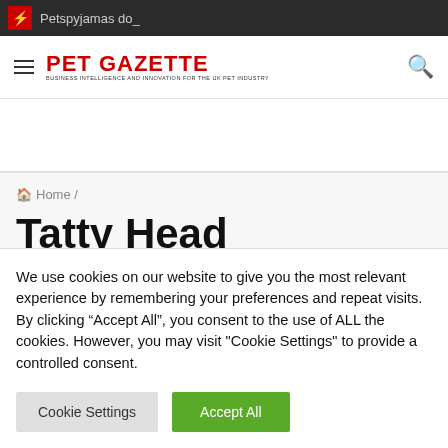Petspyjamas do_
[Figure (logo): Pet Gazette logo with red text and tagline]
Home /
Tatty Head
We use cookies on our website to give you the most relevant experience by remembering your preferences and repeat visits. By clicking "Accept All", you consent to the use of ALL the cookies. However, you may visit "Cookie Settings" to provide a controlled consent.